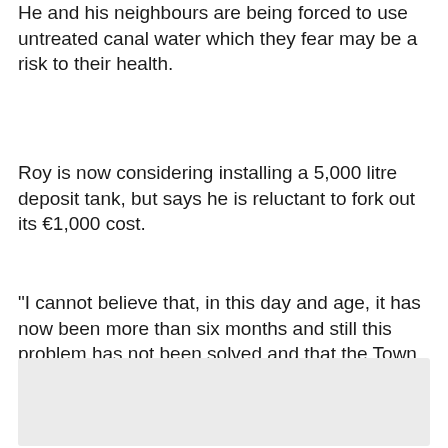He and his neighbours are being forced to use untreated canal water which they fear may be a risk to their health.
Roy is now considering installing a 5,000 litre deposit tank, but says he is reluctant to fork out its €1,000 cost.
“I cannot believe that, in this day and age, it has now been more than six months and still this problem has not been solved and that the Town Hall is not prepared to intervene.
[Figure (photo): A grey/light-coloured image placeholder box at the bottom of the page]